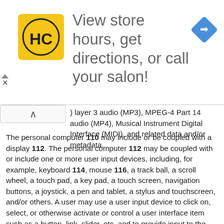[Figure (advertisement): Ad banner with HC logo (yellow square with HC letters) and text 'View store hours, get directions, or call your salon!' with a blue navigation diamond icon on the right. Close/play controls on left edge.]
) layer 3 audio (MP3), MPEG-4 Part 14 audio (MP4), Musical Instrument Digital Interface (MIDI), and related data and/or metadata.
The personal computer 110 may include or be coupled with a display 112. The personal computer 112 may be coupled with or include one or more user input devices, including, for example, keyboard 114, mouse 116, a track ball, a scroll wheel, a touch pad, a key pad, a touch screen, navigation buttons, a joystick, a pen and tablet, a stylus and touchscreen, and/or others. A user may use a user input device to click on, select, or otherwise activate or control a user interface item such as a button, link, slider, etc. and to provide input to the operating system or programs running on the personal computer via a graphical user interface, text interface or other user interface provided on the personal computer 110.
Although shown implemented in a personal computer, the processes and apparatus may be implemented with any computing device. A computing device as used herein refers to any device with a processor, memory and a storage device that may execute instructions including, but not limited to, personal computers, server computers, computing tablets, workstations,